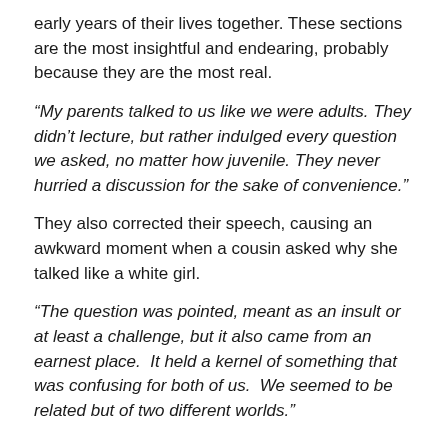early years of their lives together. These sections are the most insightful and endearing, probably because they are the most real.
“My parents talked to us like we were adults. They didn’t lecture, but rather indulged every question we asked, no matter how juvenile. They never hurried a discussion for the sake of convenience.”
They also corrected their speech, causing an awkward moment when a cousin asked why she talked like a white girl.
“The question was pointed, meant as an insult or at least a challenge, but it also came from an earnest place.  It held a kernel of something that was confusing for both of us.  We seemed to be related but of two different worlds.”